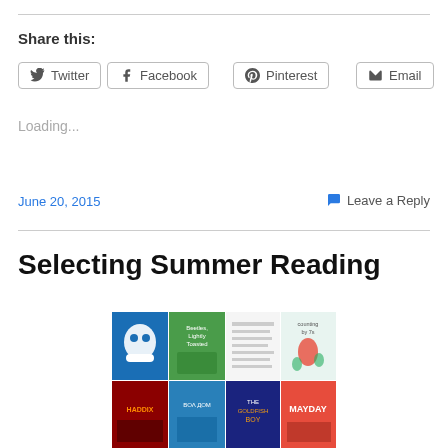Share this:
Twitter
Facebook
Pinterest
Email
Loading...
June 20, 2015
Leave a Reply
Selecting Summer Reading
[Figure (photo): Collage of children's book covers including Wonder, Beelies Lightly Toasted, Counting by 7s, a HADDIX book, and The Goldfish Boy among others]